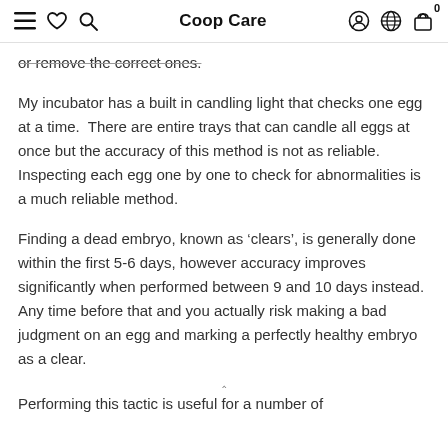Coop Care
or remove the correct ones.
My incubator has a built in candling light that checks one egg at a time.  There are entire trays that can candle all eggs at once but the accuracy of this method is not as reliable.  Inspecting each egg one by one to check for abnormalities is a much reliable method.
Finding a dead embryo, known as ‘clears’, is generally done within the first 5-6 days, however accuracy improves significantly when performed between 9 and 10 days instead. Any time before that and you actually risk making a bad judgment on an egg and marking a perfectly healthy embryo as a clear.
Performing this tactic is useful for a number of